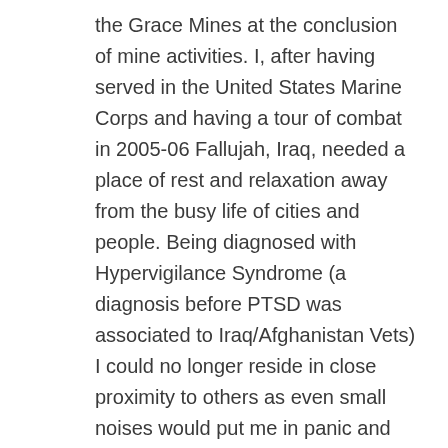the Grace Mines at the conclusion of mine activities. I, after having served in the United States Marine Corps and having a tour of combat in 2005-06 Fallujah, Iraq, needed a place of rest and relaxation away from the busy life of cities and people. Being diagnosed with Hypervigilance Syndrome (a diagnosis before PTSD was associated to Iraq/Afghanistan Vets) I could no longer reside in close proximity to others as even small noises would put me in panic and protection mode. In moving to the countryside, I was able to slightly relax and not check my locks five and six times a night, or spend countless hours patrolling my property in efforts to protect my family. In a small part, in building my home here, it became my